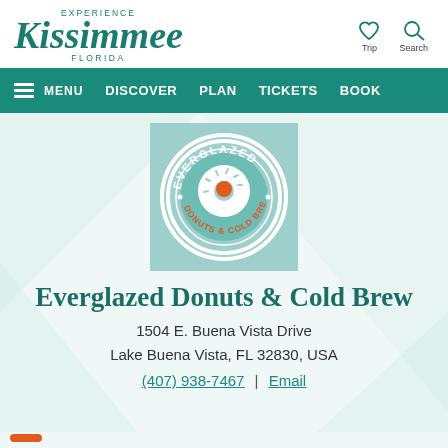Experience Kissimmee Florida
[Figure (logo): Everglazed Donuts and Cold Brew circular logo with teal background, showing a donut graphic and orange/red text]
Everglazed Donuts & Cold Brew
1504 E. Buena Vista Drive
Lake Buena Vista, FL 32830, USA
(407) 938-7467 | Email